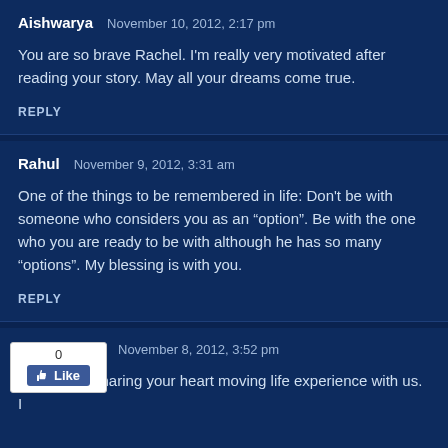Aishwarya  November 10, 2012, 2:17 pm
You are so brave Rachel. I'm really very motivated after reading your story. May all your dreams come true.
REPLY
Rahul  November 9, 2012, 3:31 am
One of the things to be remembered in life: Don't be with someone who considers you as an “option”. Be with the one who you are ready to be with although he has so many “options”. My blessing is with you.
REPLY
November 8, 2012, 3:52 pm
Thanks for sharing your heart moving life experience with us. I
[Figure (screenshot): Facebook Like widget showing count of 0 and a blue Like button with thumbs up icon]